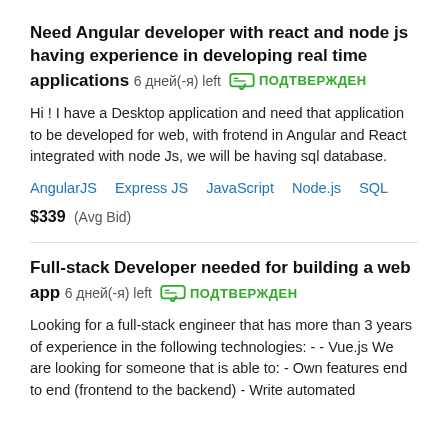Need Angular developer with react and node js having experience in developing real time applications  6 дней(-я) left  ПОДТВЕРЖДЕН
Hi ! I have a Desktop application and need that application to be developed for web, with frotend in Angular and React integrated with node Js, we will be having sql database.
AngularJS   Express JS   JavaScript   Node.js   SQL
$339  (Avg Bid)
Full-stack Developer needed for building a web app  6 дней(-я) left  ПОДТВЕРЖДЕН
Looking for a full-stack engineer that has more than 3 years of experience in the following technologies: - - Vue.js We are looking for someone that is able to: - Own features end to end (frontend to the backend) - Write automated